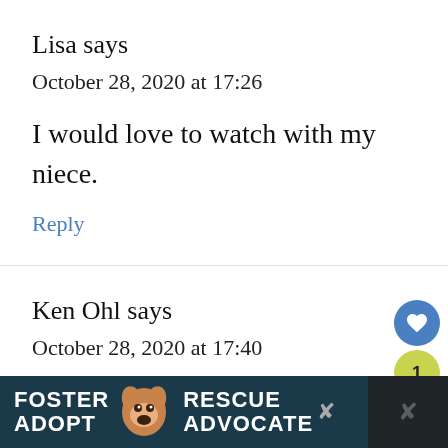Lisa says
October 28, 2020 at 17:26
I would love to watch with my niece.
Reply
Ken Ohl says
October 28, 2020 at 17:40
[Figure (other): Advertisement banner at bottom: dark teal background with white bold text FOSTER ADOPT on left, dog photo center, RESCUE ADVOCATE on right, with close button overlay]